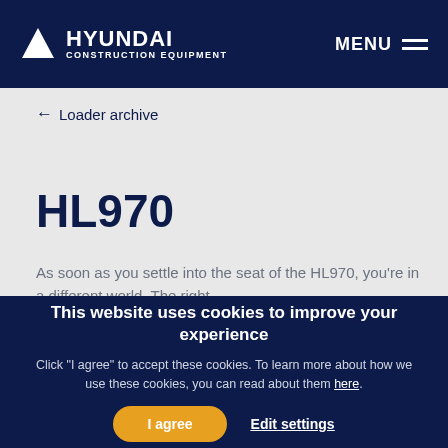HYUNDAI CONSTRUCTION EQUIPMENT   MENU
← Loader archive
HL970
As soon as you settle into the seat of the HL970, you're in a different world. The right
This website uses cookies to improve your experience
Click "I agree" to accept these cookies. To learn more about how we use these cookies, you can read about them here.
I agree   Edit settings